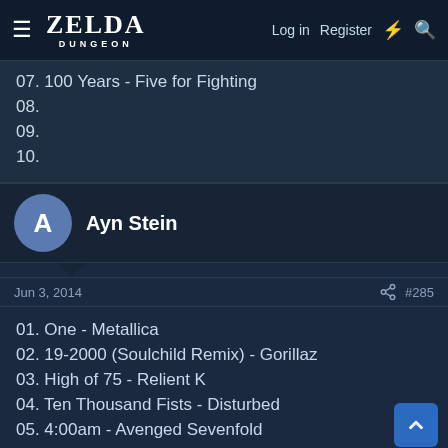ZELDA DUNGEON — Log in  Register
07. 100 Years - Five for Fighting
08.
09.
10.
Ayn Stein
Jun 3, 2014   #285
01. One - Metallica
02. 19-2000 (Soulchild Remix) - Gorillaz
03. High of 75 - Relient K
04. Ten Thousand Fists - Disturbed
05. 4:00am - Avenged Sevenfold
06. Sixty Years On - Elton John
07. 100 Years - Five for Fighting
08. 1999 - Prince
09.